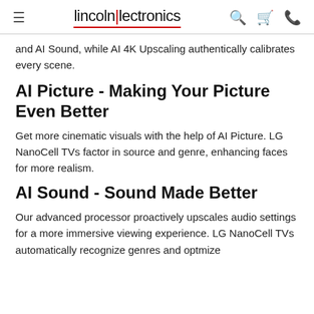lincolnlectronics
and AI Sound, while AI 4K Upscaling authentically calibrates every scene.
AI Picture - Making Your Picture Even Better
Get more cinematic visuals with the help of AI Picture. LG NanoCell TVs factor in source and genre, enhancing faces for more realism.
AI Sound - Sound Made Better
Our advanced processor proactively upscales audio settings for a more immersive viewing experience. LG NanoCell TVs automatically recognize genres and optmize